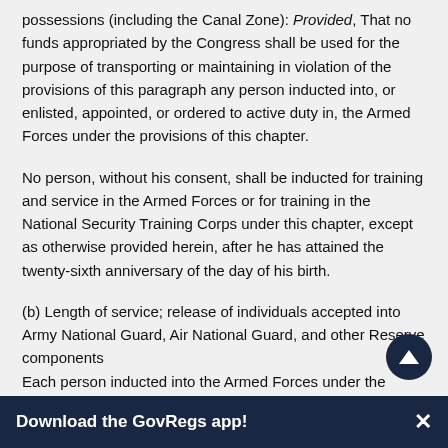possessions (including the Canal Zone): Provided, That no funds appropriated by the Congress shall be used for the purpose of transporting or maintaining in violation of the provisions of this paragraph any person inducted into, or enlisted, appointed, or ordered to active duty in, the Armed Forces under the provisions of this chapter.
No person, without his consent, shall be inducted for training and service in the Armed Forces or for training in the National Security Training Corps under this chapter, except as otherwise provided herein, after he has attained the twenty-sixth anniversary of the day of his birth.
(b) Length of service; release of individuals accepted into Army National Guard, Air National Guard, and other Reserve components
Each person inducted into the Armed Forces under the provisions of subsection (a) of this section shall serve on active training and service for a period of twenty-four consecutive months, unless sooner released, transferred, or discharged in accordance with
Download the GovRegs app!